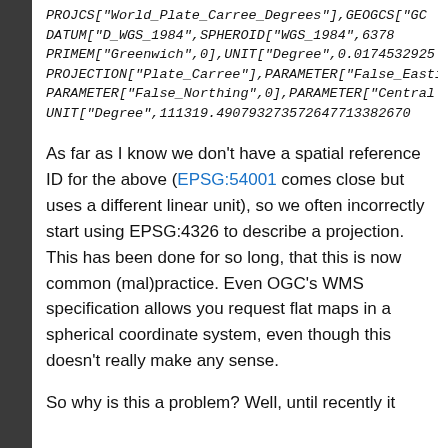PROJCS["World_Plate_Carree_Degrees",GEOGCS["GC DATUM["D_WGS_1984",SPHEROID["WGS_1984",6378 PRIMEM["Greenwich",0],UNIT["Degree",0.01745329292 PROJECTION["Plate_Carree"],PARAMETER["False_Easti PARAMETER["False_Northing",0],PARAMETER["Centra UNIT["Degree",111319.49079327357264771338267
As far as I know we don't have a spatial reference ID for the above (EPSG:54001 comes close but uses a different linear unit), so we often incorrectly start using EPSG:4326 to describe a projection. This has been done for so long, that this is now common (mal)practice. Even OGC's WMS specification allows you request flat maps in a spherical coordinate system, even though this doesn't really make any sense.
So why is this a problem? Well, until recently it